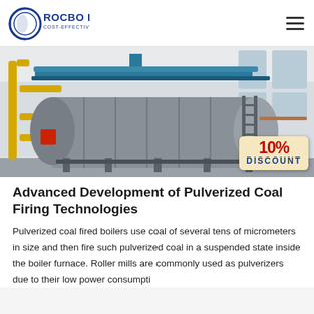ROCBO BOILER — COST-EFFECTIVE BOILER SUPPLIER
[Figure (photo): Industrial boiler equipment in a white-walled factory facility. Yellow pipes on the left, large cylindrical gray boiler body in center, blue overhead crane structure, ladder on the right side. A '10% DISCOUNT' badge overlaid on bottom right corner.]
Advanced Development of Pulverized Coal Firing Technologies
Pulverized coal fired boilers use coal of several tens of micrometers in size and then fire such pulverized coal in a suspended state inside the boiler furnace. Roller mills are commonly used as pulverizers due to their low power consumpti